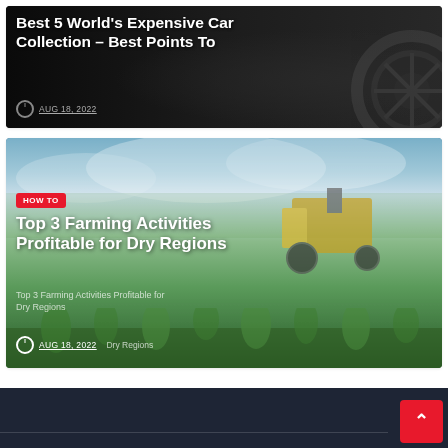[Figure (photo): Dark background card showing expensive car collection with white bold title text and date]
Best 5 World's Expensive Car Collection – Best Points To
AUG 18, 2022
[Figure (photo): Farming scene with man in field and tractor/harvester machinery, overlaid with HOW TO badge, title and date]
HOW TO
Top 3 Farming Activities Profitable for Dry Regions
Top 3 Farming Activities Profitable for Dry Regions
AUG 18, 2022